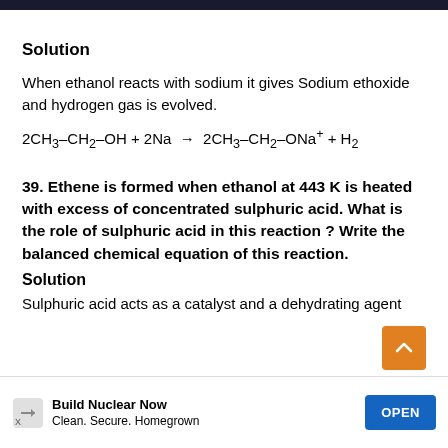Solution
When ethanol reacts with sodium it gives Sodium ethoxide and hydrogen gas is evolved.
39. Ethene is formed when ethanol at 443 K is heated with excess of concentrated sulphuric acid. What is the role of sulphuric acid in this reaction ? Write the balanced chemical equation of this reaction.
Solution
Sulphuric acid acts as a catalyst and a dehydrating agent